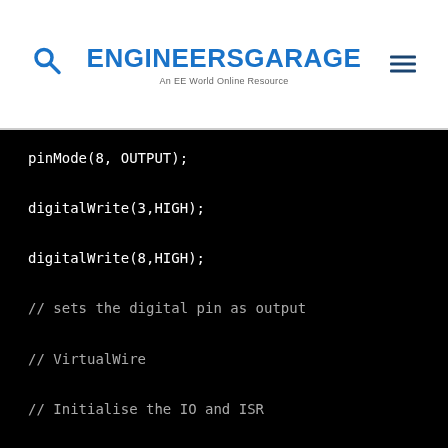ENGINEERS GARAGE — An EE World Online Resource